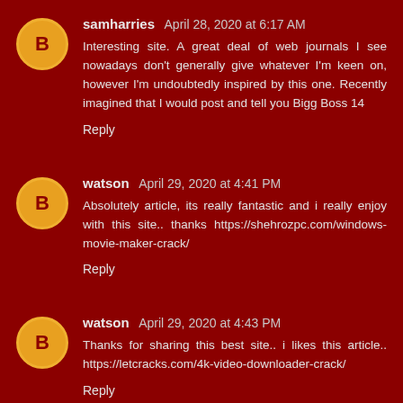samharries April 28, 2020 at 6:17 AM
Interesting site. A great deal of web journals I see nowadays don't generally give whatever I'm keen on, however I'm undoubtedly inspired by this one. Recently imagined that I would post and tell you Bigg Boss 14
Reply
watson April 29, 2020 at 4:41 PM
Absolutely article, its really fantastic and i really enjoy with this site.. thanks https://shehrozpc.com/windows-movie-maker-crack/
Reply
watson April 29, 2020 at 4:43 PM
Thanks for sharing this best site.. i likes this article.. https://letcracks.com/4k-video-downloader-crack/
Reply